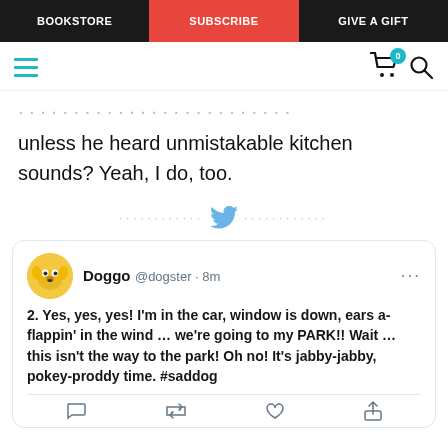BOOKSTORE | SUBSCRIBE | GIVE A GIFT
unless he heard unmistakable kitchen sounds? Yeah, I do, too.
[Figure (screenshot): Twitter/social media divider with bird logo and dotted lines]
[Figure (screenshot): Tweet from Doggo @dogster 8m: 2. Yes, yes, yes! I'm in the car, window is down, ears a-flappin' in the wind … we're going to my PARK!! Wait … this isn't the way to the park! Oh no! It's jabby-jabby, pokey-proddy time. #saddog]